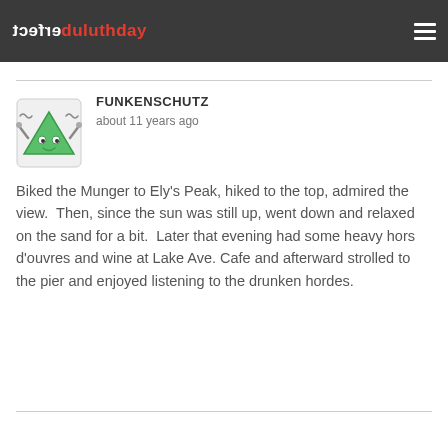erfect duluthday
[Figure (illustration): Cartoon avatar of a green triangle character with arms raised and wavy lines suggesting stress or excitement]
FUNKENSCHUTZ
about 11 years ago
Biked the Munger to Ely's Peak, hiked to the top, admired the view.  Then, since the sun was still up, went down and relaxed on the sand for a bit.  Later that evening had some heavy hors d'ouvres and wine at Lake Ave. Cafe and afterward strolled to the pier and enjoyed listening to the drunken hordes.